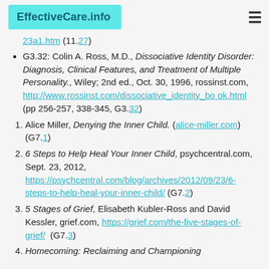EffectiveCare.info
23a1.htm (11.27)
G3.32: Colin A. Ross, M.D., Dissociative Identity Disorder: Diagnosis, Clinical Features, and Treatment of Multiple Personality., Wiley; 2nd ed., Oct. 30, 1996, rossinst.com, http://www.rossinst.com/dissociative_identity_book.html (pp 256-257, 338-345, G3.32)
Alice Miller, Denying the Inner Child. (alice-miller.com) (G7.1)
6 Steps to Help Heal Your Inner Child, psychcentral.com, Sept. 23, 2012, https://psychcentral.com/blog/archives/2012/09/23/6-steps-to-help-heal-your-inner-child/ (G7.2)
5 Stages of Grief, Elisabeth Kubler-Ross and David Kessler, grief.com, https://grief.com/the-five-stages-of-grief/ (G7.3)
Homecoming: Reclaiming and Championing...